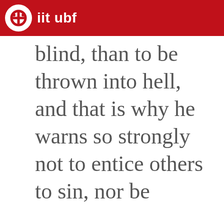iit ubf
blind, than to be thrown into hell, and that is why he warns so strongly not to entice others to sin, nor be